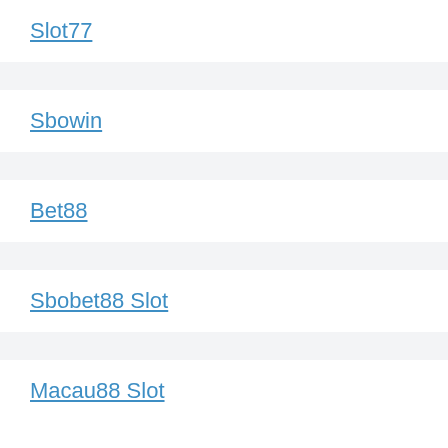Slot77
Sbowin
Bet88
Sbobet88 Slot
Macau88 Slot